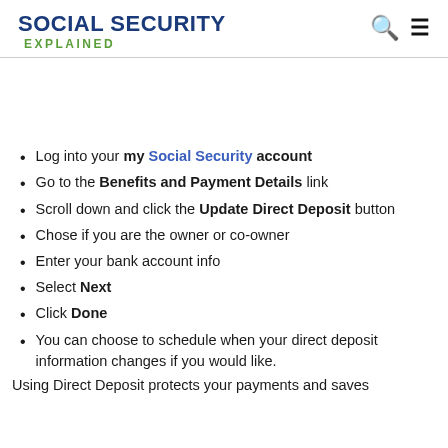SOCIAL SECURITY EXPLAINED
Log into your my Social Security account
Go to the Benefits and Payment Details link
Scroll down and click the Update Direct Deposit button
Chose if you are the owner or co-owner
Enter your bank account info
Select Next
Click Done
You can choose to schedule when your direct deposit information changes if you would like.
Using Direct Deposit protects your payments and saves